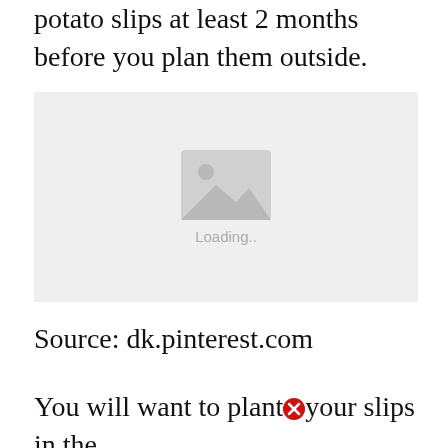potato slips at least 2 months before you plan them outside.
[Figure (photo): Loading image placeholder with mountain/landscape icon and 'Loading..' text on light grey background]
Source: dk.pinterest.com
You will want to plant your slips in the